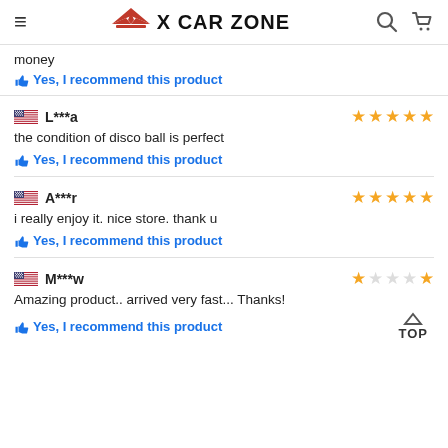X CAR ZONE
money
👍 Yes, I recommend this product
L***a — ★★★★★
the condition of disco ball is perfect
👍 Yes, I recommend this product
A***r — ★★★★★
i really enjoy it. nice store. thank u
👍 Yes, I recommend this product
M***w — ★☆☆☆★
Amazing product.. arrived very fast... Thanks!
👍 Yes, I recommend this product